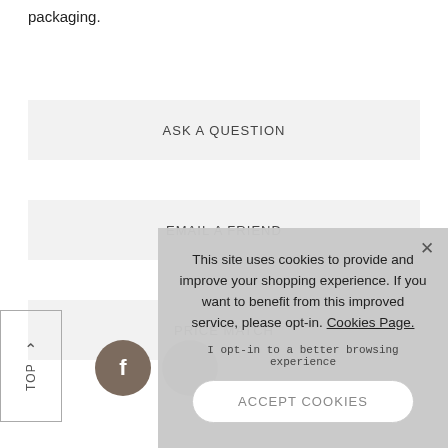packaging.
ASK A QUESTION
EMAIL A FRIEND
PRICE MATCH
[Figure (screenshot): TOP navigation button with upward arrow]
[Figure (screenshot): Social media icons: Facebook (brown circle with f) and a second partially visible circle]
This site uses cookies to provide and improve your shopping experience. If you want to benefit from this improved service, please opt-in. Cookies Page.

I opt-in to a better browsing experience

ACCEPT COOKIES